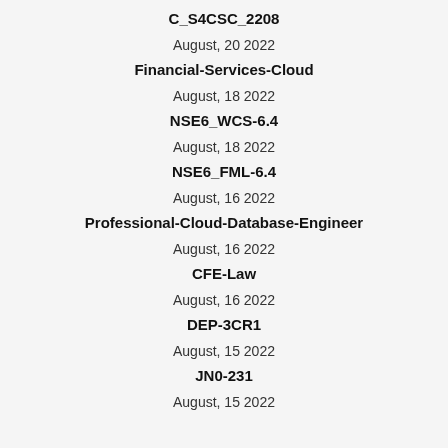C_S4CSC_2208
August, 20 2022
Financial-Services-Cloud
August, 18 2022
NSE6_WCS-6.4
August, 18 2022
NSE6_FML-6.4
August, 16 2022
Professional-Cloud-Database-Engineer
August, 16 2022
CFE-Law
August, 16 2022
DEP-3CR1
August, 15 2022
JN0-231
August, 15 2022